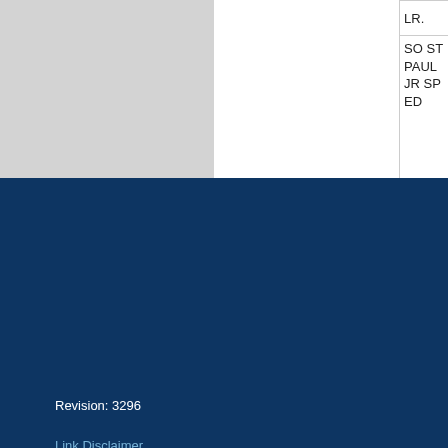| LR. |
| SO ST PAUL JR SP ED |
Revision: 3296
Link Disclaimer
Privacy Statement
Accessibility Policy
Minnesota.gov
Help
Copyright 2022
Minnesota Department of Education